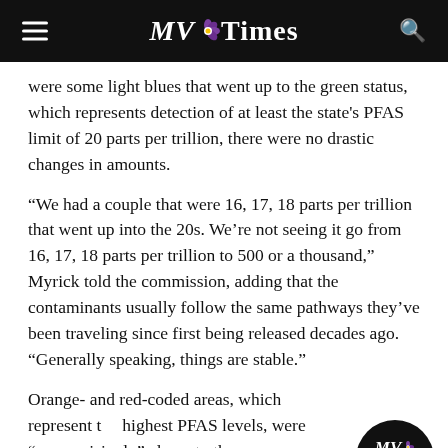MV Times
were some light blues that went up to the green status, which represents detection of at least the state's PFAS limit of 20 parts per trillion, there were no drastic changes in amounts.
“We had a couple that were 16, 17, 18 parts per trillion that went up into the 20s. We’re not seeing it go from 16, 17, 18 parts per trillion to 500 or a thousand,” Myrick told the commission, adding that the contaminants usually follow the same pathways they’ve been traveling since first being released decades ago. “Generally speaking, things are stable.”
Orange- and red-coded areas, which represent the highest PFAS levels, were “unsurprisingly” closer to the